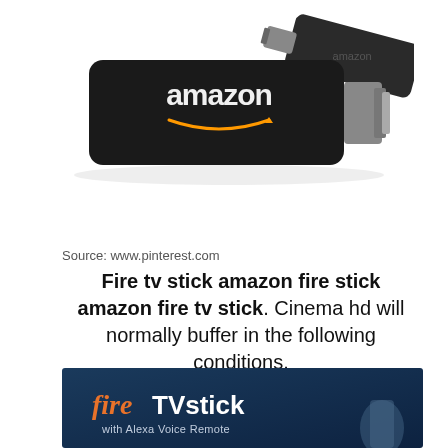[Figure (photo): Amazon Fire TV Stick device shown with HDMI connector, black stick with Amazon logo and smile arrow, and a second device in background]
Source: www.pinterest.com
Fire tv stick amazon fire stick amazon fire tv stick. Cinema hd will normally buffer in the following conditions.
[Figure (photo): Fire TV Stick product advertisement image with dark blue background showing 'fire TVstick with Alexa Voice Remote' text in orange and white]